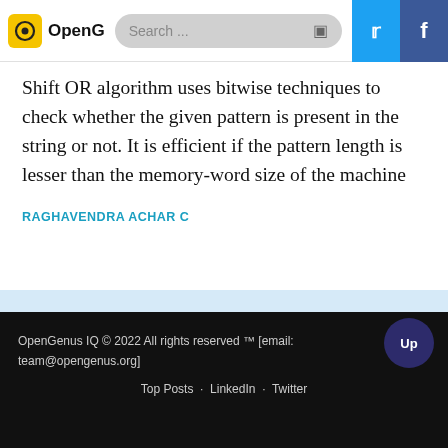OpenGenus IQ | Search...
Shift OR algorithm uses bitwise techniques to check whether the given pattern is present in the string or not. It is efficient if the pattern length is lesser than the memory-word size of the machine
RAGHAVENDRA ACHAR C
OpenGenus IQ © 2022 All rights reserved ™ [email: team@opengenus.org]
Top Posts · LinkedIn · Twitter